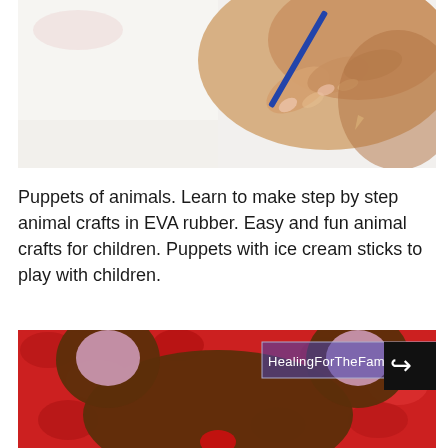[Figure (photo): Close-up photo of a hand holding a pencil or crayon, drawing on white paper, blurred background]
Puppets of animals. Learn to make step by step animal crafts in EVA rubber. Easy and fun animal crafts for children. Puppets with ice cream sticks to play with children.
[Figure (photo): Close-up photo of a brown EVA foam animal puppet shaped like a bear or mouse head with pink ear circles, on a red background, with HealingForTheFamily.com watermark and share icon overlay]